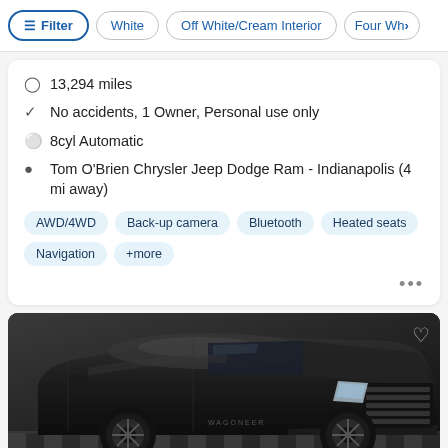Filter | White | Off White/Cream Interior | Four Wh...
13,294 miles
No accidents, 1 Owner, Personal use only
8cyl Automatic
Tom O'Brien Chrysler Jeep Dodge Ram - Indianapolis (4 mi away)
AWD/4WD
Back-up camera
Bluetooth
Heated seats
Navigation
+more
[Figure (photo): Black Jeep Wagoneer SUV photographed in a dealership showroom with checkered floor, front three-quarter view]